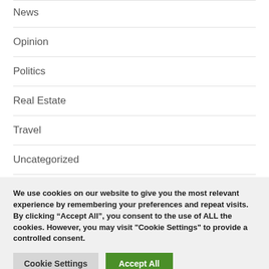News
Opinion
Politics
Real Estate
Travel
Uncategorized
We use cookies on our website to give you the most relevant experience by remembering your preferences and repeat visits. By clicking “Accept All”, you consent to the use of ALL the cookies. However, you may visit "Cookie Settings" to provide a controlled consent.
Cookie Settings | Accept All